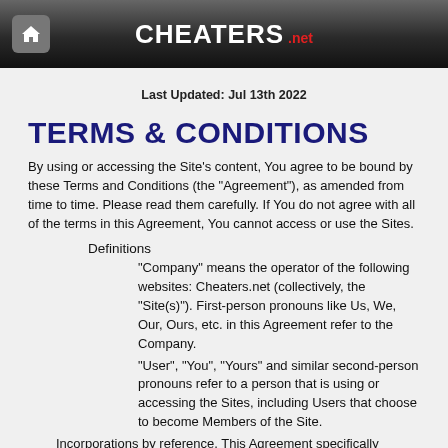CHEATERS.net
Last Updated: Jul 13th 2022
TERMS & CONDITIONS
By using or accessing the Site's content, You agree to be bound by these Terms and Conditions (the "Agreement"), as amended from time to time. Please read them carefully. If You do not agree with all of the terms in this Agreement, You cannot access or use the Sites.
Definitions
"Company" means the operator of the following websites: Cheaters.net (collectively, the "Site(s)"). First-person pronouns like Us, We, Our, Ours, etc. in this Agreement refer to the Company.
"User", "You", "Yours" and similar second-person pronouns refer to a person that is using or accessing the Sites, including Users that choose to become Members of the Site.
Incorporations by reference. This Agreement specifically incorporates by reference, which are therefore part and parcel of this Agreement, the following policies: Spam Policy, Privacy Policy,